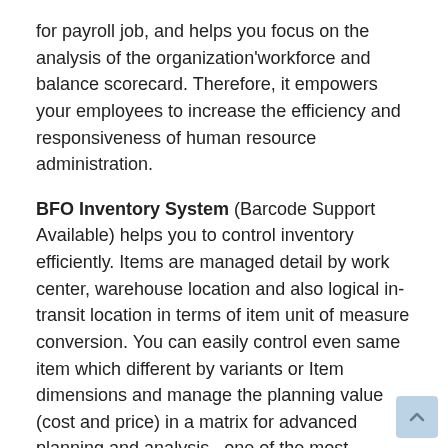for payroll job, and helps you focus on the analysis of the organization'workforce and balance scorecard. Therefore, it empowers your employees to increase the efficiency and responsiveness of human resource administration.
BFO Inventory System (Barcode Support Available) helps you to control inventory efficiently. Items are managed detail by work center, warehouse location and also logical in-transit location in terms of item unit of measure conversion. You can easily control even same item which different by variants or Item dimensions and manage the planning value (cost and price) in a matrix for advanced planning and analysis.. one of the most remarkable feature is that, with BFO inventory, information of real stock, safety stock, ordered reserved quantity is always in your hand so that you can promise to delivery in time or transfer item from nearby branches, distribution center (POS), and other warehouse locations easily. Especially, inventory figures are always online and available instantly, assisting your on-time